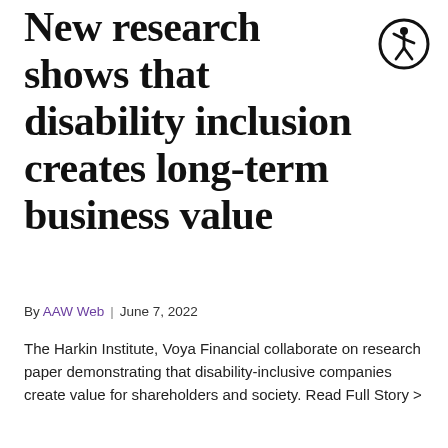New research shows that disability inclusion creates long-term business value
[Figure (illustration): Accessibility icon: a circular badge with a person figure (stick figure in motion) inside a black circle outline]
By AAW Web | June 7, 2022
The Harkin Institute, Voya Financial collaborate on research paper demonstrating that disability-inclusive companies create value for shareholders and society. Read Full Story >